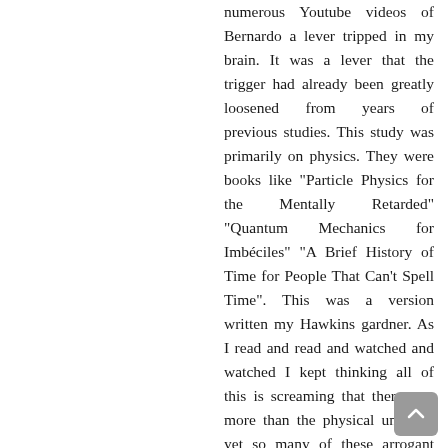numerous Youtube videos of Bernardo a lever tripped in my brain. It was a lever that the trigger had already been greatly loosened from years of previous studies. This study was primarily on physics. They were books like "Particle Physics for the Mentally Retarded" "Quantum Mechanics for Imbéciles" "A Brief History of Time for People That Can't Spell Time". This was a version written my Hawkins gardner. As I read and read and watched and watched I kept thinking all of this is screaming that there was more than the physical universe yet so many of these arrogant a## h#### just dismissed it out of hand. I mean some where just